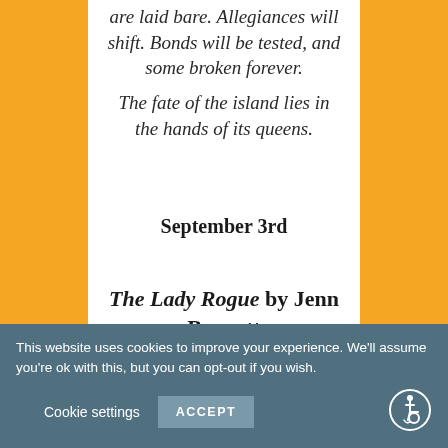are laid bare. Allegiances will shift. Bonds will be tested, and some broken forever.
The fate of the island lies in the hands of its queens.
September 3rd
The Lady Rogue by Jenn Bennett
[Figure (photo): Partial view of a book cover with ornate golden/amber decorative patterns]
This website uses cookies to improve your experience. We'll assume you're ok with this, but you can opt-out if you wish. Cookie settings ACCEPT